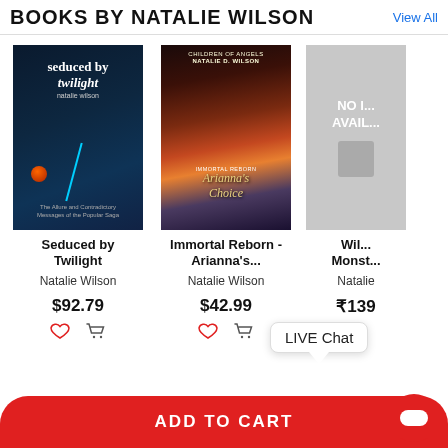BOOKS BY NATALIE WILSON
View All
[Figure (photo): Book cover: Seduced by Twilight by Natalie Wilson — dark blue cover with red ball and teal geometric lines]
[Figure (photo): Book cover: Immortal Reborn - Arianna's Choice by Natalie D. Wilson — fantasy cover with woman and castle]
[Figure (photo): Book cover: third book by Natalie — gray placeholder with NO IMAGE AVAILABLE text]
Seduced by Twilight
Natalie Wilson
$92.79
Immortal Reborn - Arianna's...
Natalie Wilson
$42.99
Wil... Monst...
Natalie
₹139
LIVE Chat
ADD TO CART